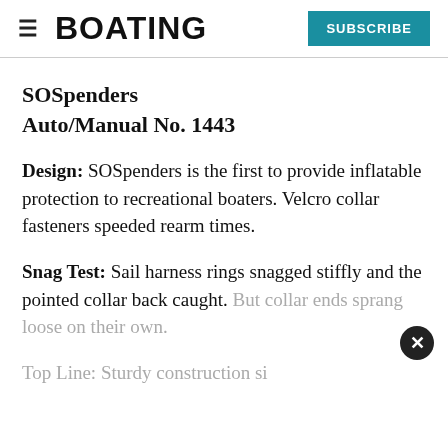≡ BOATING SUBSCRIBE
SOSpenders Auto/Manual No. 1443
Design: SOSpenders is the first to provide inflatable protection to recreational boaters. Velcro collar fasteners speeded rearm times.
Snag Test: Sail harness rings snagged stiffly and the pointed collar back caught. But collar ends sprang loose on their own.
Top Line: Sturdy construction si...